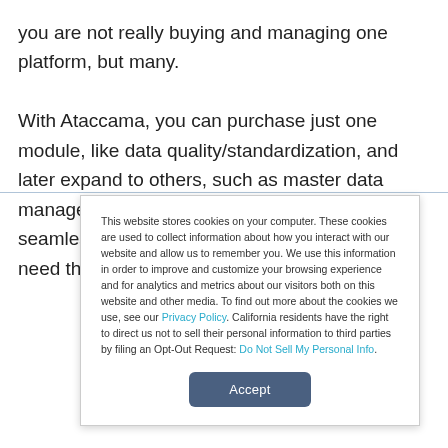you are not really buying and managing one platform, but many.

With Ataccama, you can purchase just one module, like data quality/standardization, and later expand to others, such as master data management (MDM). It all works together seamlessly. Just activate our modules as you need them. This
This website stores cookies on your computer. These cookies are used to collect information about how you interact with our website and allow us to remember you. We use this information in order to improve and customize your browsing experience and for analytics and metrics about our visitors both on this website and other media. To find out more about the cookies we use, see our Privacy Policy. California residents have the right to direct us not to sell their personal information to third parties by filing an Opt-Out Request: Do Not Sell My Personal Info.
Accept